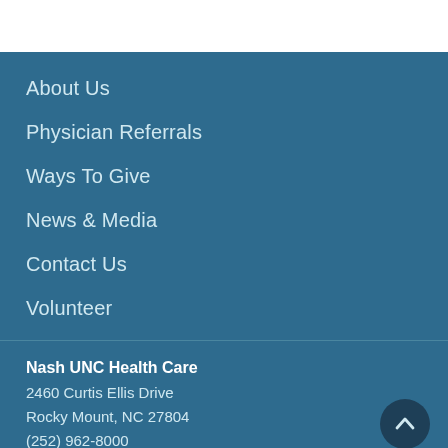About Us
Physician Referrals
Ways To Give
News & Media
Contact Us
Volunteer
Nash UNC Health Care
2460 Curtis Ellis Drive
Rocky Mount, NC 27804
(252) 962-8000